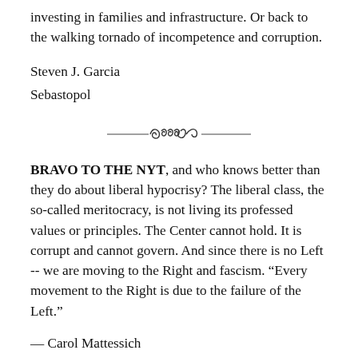investing in families and infrastructure. Or back to the walking tornado of incompetence and corruption.
Steven J. Garcia
Sebastopol
[Figure (illustration): Decorative ornamental divider with scrollwork design]
BRAVO TO THE NYT, and who knows better than they do about liberal hypocrisy? The liberal class, the so-called meritocracy, is not living its professed values or principles. The Center cannot hold. It is corrupt and cannot govern. And since there is no Left -- we are moving to the Right and fascism. “Every movement to the Right is due to the failure of the Left.”
— Carol Mattessich